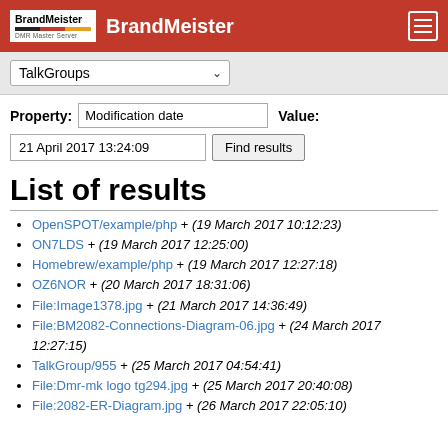BrandMeister
TalkGroups
Property: Modification date   Value:
21 April 2017 13:24:09   Find results
List of results
OpenSPOT/example/php + (19 March 2017 10:12:23)
ON7LDS + (19 March 2017 12:25:00)
Homebrew/example/php + (19 March 2017 12:27:18)
OZ6NOR + (20 March 2017 18:31:06)
File:Image1378.jpg + (21 March 2017 14:36:49)
File:BM2082-Connections-Diagram-06.jpg + (24 March 2017 12:27:15)
TalkGroup/955 + (25 March 2017 04:54:41)
File:Dmr-mk logo tg294.jpg + (25 March 2017 20:40:08)
File:2082-ER-Diagram.jpg + (26 March 2017 22:05:10)